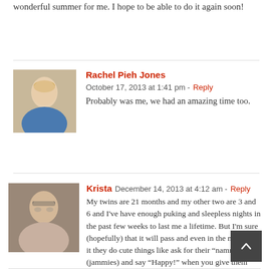wonderful summer for me. I hope to be able to do it again soon!
Rachel Pieh Jones  October 17, 2013 at 1:41 pm - Reply
Probably was me, we had an amazing time too.
Krista  December 14, 2013 at 4:12 am - Reply
My twins are 21 months and my other two are 3 and 6 and I've have enough puking and sleepless nights in the past few weeks to last me a lifetime. But I'm sure (hopefully) that it will pass and even in the midst of it they do cute things like ask for their "nammies" (jammies) and say "Happy!" when you give them food they like. ☺
I can't even imagine them as teenagers yet...